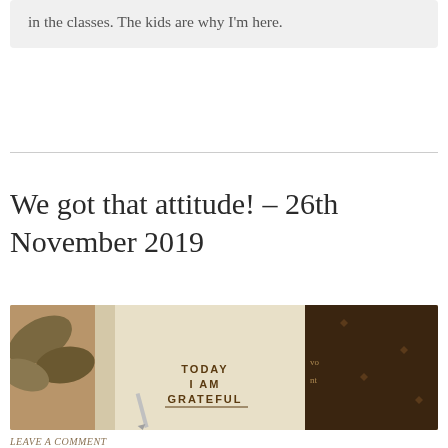in the classes. The kids are why I'm here.
We got that attitude! – 26th November 2019
[Figure (photo): Sepia-toned photograph of a notebook/journal with the text 'TODAY I AM GRATEFUL' written on its cover, alongside a pen and some leaves in the background.]
LEAVE A COMMENT